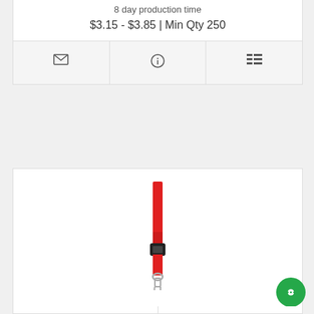8 day production time
$3.15 - $3.85 | Min Qty 250
[Figure (illustration): Icon bar with envelope, info circle, and list icons on gray background]
[Figure (photo): Red detachable lanyard with black buckle and silver clip, branded 'Finsen']
SELECT DETACHABLE LANYARD - 3/4" W
# DDY
8 day production time
$3.85 - $4.55 | Min Qty 250